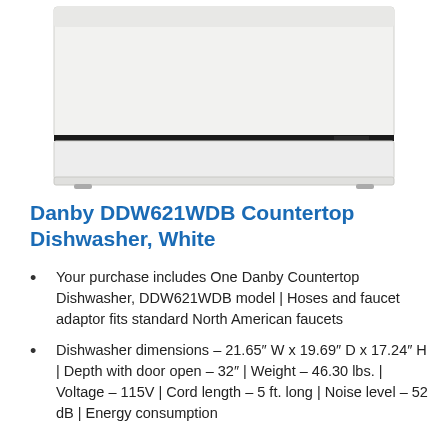[Figure (photo): Close-up photo of a white Danby countertop dishwasher showing the front panel, control strip with a thin horizontal line, and the base with two small feet.]
Danby DDW621WDB Countertop Dishwasher, White
Your purchase includes One Danby Countertop Dishwasher, DDW621WDB model | Hoses and faucet adaptor fits standard North American faucets
Dishwasher dimensions – 21.65″ W x 19.69″ D x 17.24″ H | Depth with door open – 32″ | Weight – 46.30 lbs. | Voltage – 115V | Cord length – 5 ft. long | Noise level – 52 dB | Energy consumption